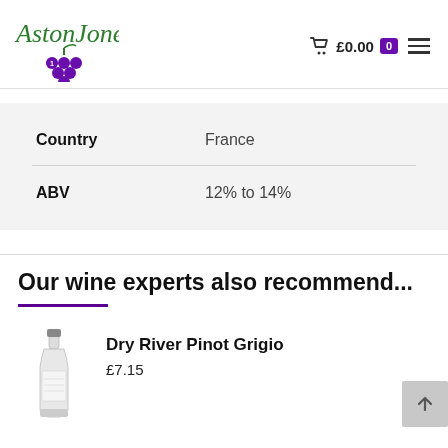[Figure (logo): Aston Jones wine shop logo with green italic serif text and purple grape cluster]
|  |  |
| --- | --- |
| Country | France |
| ABV | 12% to 14% |
Our wine experts also recommend...
[Figure (photo): Wine bottle - Dry River Pinot Grigio]
Dry River Pinot Grigio
£7.15